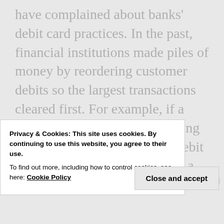It's not the first time activists have complained about banks' debit card practices. In the past, financial institutions made piles of money by reordering customer debits so the largest transactions cleared first. For example, if a customer had $100 in a checking account and made three $10 debit purchases early in the day and a final one for $200, the
Privacy & Cookies: This site uses cookies. By continuing to use this website, you agree to their use.
To find out more, including how to control cookies, see here: Cookie Policy